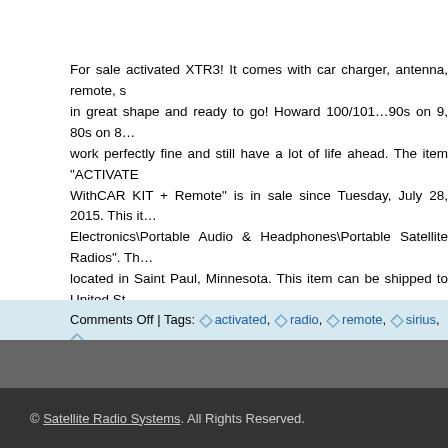For sale activated XTR3! It comes with car charger, antenna, remote, s... in great shape and ready to go! Howard 100/101…90s on 9, 80s on 8... work perfectly fine and still have a lot of life ahead. The item "ACTIVATE WithCAR KIT + Remote" is in sale since Tuesday, July 28, 2015. This it... Electronics\Portable Audio & Headphones\Portable Satellite Radios". Th... located in Saint Paul, Minnesota. This item can be shipped to United St... Kingdom, to Australia, to Ireland, to New Zealand, SG, AE, MY.
Special Features: FM Transmitter
Bundled Items: Vehicle Kit
Comments Off | Tags: activated, radio, remote, sirius,
© Satellite Radio Systems. All Rights Reserved.